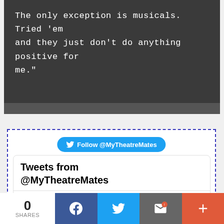The only exception is musicals. Tried 'em and they just don't do anything positive for me."
[Figure (screenshot): Twitter widget with dashed purple border showing Follow @MyTheatreMates button and a tweet card with MyTheatreMates account, @MyTheat... · 1h, 'It's press night for @ffreyasmith']
0 SHARES | Facebook share | Twitter share | Email share | More share